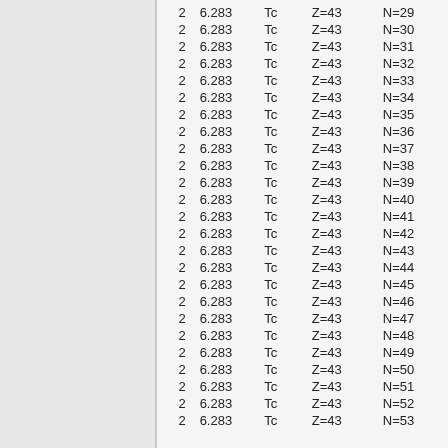|  |  | Element | Z | N |
| --- | --- | --- | --- | --- |
| 2 | 6.283 | Tc | Z=43 | N=29 |
| 2 | 6.283 | Tc | Z=43 | N=30 |
| 2 | 6.283 | Tc | Z=43 | N=31 |
| 2 | 6.283 | Tc | Z=43 | N=32 |
| 2 | 6.283 | Tc | Z=43 | N=33 |
| 2 | 6.283 | Tc | Z=43 | N=34 |
| 2 | 6.283 | Tc | Z=43 | N=35 |
| 2 | 6.283 | Tc | Z=43 | N=36 |
| 2 | 6.283 | Tc | Z=43 | N=37 |
| 2 | 6.283 | Tc | Z=43 | N=38 |
| 2 | 6.283 | Tc | Z=43 | N=39 |
| 2 | 6.283 | Tc | Z=43 | N=40 |
| 2 | 6.283 | Tc | Z=43 | N=41 |
| 2 | 6.283 | Tc | Z=43 | N=42 |
| 2 | 6.283 | Tc | Z=43 | N=43 |
| 2 | 6.283 | Tc | Z=43 | N=44 |
| 2 | 6.283 | Tc | Z=43 | N=45 |
| 2 | 6.283 | Tc | Z=43 | N=46 |
| 2 | 6.283 | Tc | Z=43 | N=47 |
| 2 | 6.283 | Tc | Z=43 | N=48 |
| 2 | 6.283 | Tc | Z=43 | N=49 |
| 2 | 6.283 | Tc | Z=43 | N=50 |
| 2 | 6.283 | Tc | Z=43 | N=51 |
| 2 | 6.283 | Tc | Z=43 | N=52 |
| 2 | 6.283 | Tc | Z=43 | N=53 |